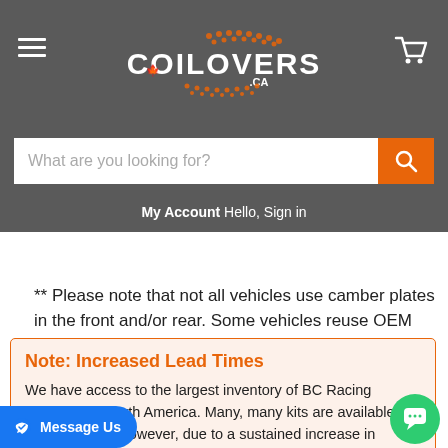COILOVERS.CA
What are you looking for?
My Account Hello, Sign in
** Please note that not all vehicles use camber plates in the front and/or rear. Some vehicles reuse OEM upper mounts.
Note: Increased Lead Times
We have access to the largest inventory of BC Racing Coilovers in North America. Many, many kits are available to ship next-day. However, due to a sustained increa... Racing products, as well as industry-... shortages and logistical delays, lead times are